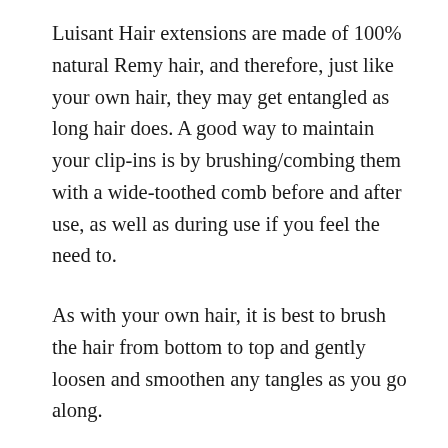Luisant Hair extensions are made of 100% natural Remy hair, and therefore, just like your own hair, they may get entangled as long hair does. A good way to maintain your clip-ins is by brushing/combing them with a wide-toothed comb before and after use, as well as during use if you feel the need to.
As with your own hair, it is best to brush the hair from bottom to top and gently loosen and smoothen any tangles as you go along.
The most common reason is that the extensions are putting too much tension on your scalp. To avoid this, do not put too much weight on a small strand of hair. Also, make sure that your hair does not get pulled